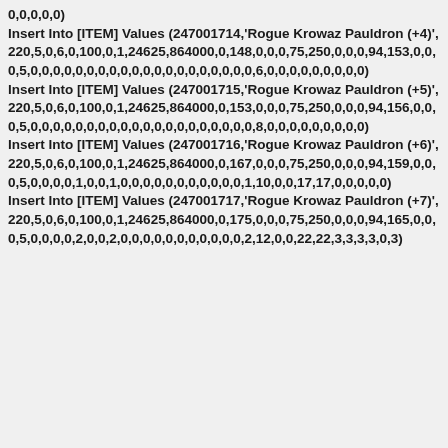0,0,0,0,0)
Insert Into [ITEM] Values (247001714,'Rogue Krowaz Pauldron (+4)',220,5,0,6,0,100,0,1,24625,864000,0,148,0,0,0,75,250,0,0,0,94,153,0,0,0,5,0,0,0,0,0,0,0,0,0,0,0,0,0,0,0,0,0,0,0,0,6,0,0,0,0,0,0,0,0,0)
Insert Into [ITEM] Values (247001715,'Rogue Krowaz Pauldron (+5)',220,5,0,6,0,100,0,1,24625,864000,0,153,0,0,0,75,250,0,0,0,94,156,0,0,0,5,0,0,0,0,0,0,0,0,0,0,0,0,0,0,0,0,0,0,0,0,8,0,0,0,0,0,0,0,0,0)
Insert Into [ITEM] Values (247001716,'Rogue Krowaz Pauldron (+6)',220,5,0,6,0,100,0,1,24625,864000,0,167,0,0,0,75,250,0,0,0,94,159,0,0,0,5,0,0,0,0,1,0,0,1,0,0,0,0,0,0,0,0,0,0,0,1,10,0,0,17,17,0,0,0,0,0)
Insert Into [ITEM] Values (247001717,'Rogue Krowaz Pauldron (+7)',220,5,0,6,0,100,0,1,24625,864000,0,175,0,0,0,75,250,0,0,0,94,165,0,0,0,5,0,0,0,0,2,0,0,2,0,0,0,0,0,0,0,0,0,0,0,2,12,0,0,22,22,3,3,3,3,0,3)